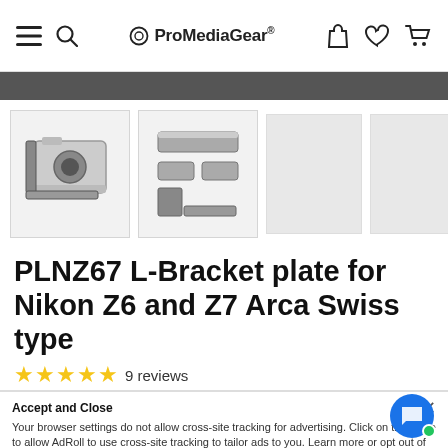ProMediaGear®
[Figure (photo): Product thumbnails: first shows camera with L-bracket attached, second shows bracket components laid out]
PLNZ67 L-Bracket plate for Nikon Z6 and Z7 Arca Swiss type
★★★★★ 9 reviews
$129.95
Pay in 4 interest-free installments of $32.48 with Shop Pay
Accept and Close
Your browser settings do not allow cross-site tracking for advertising. Click on this page to allow AdRoll to use cross-site tracking to tailor ads to you. Learn more or opt out of this AdRoll tracking by clicking here. This message only appears once.